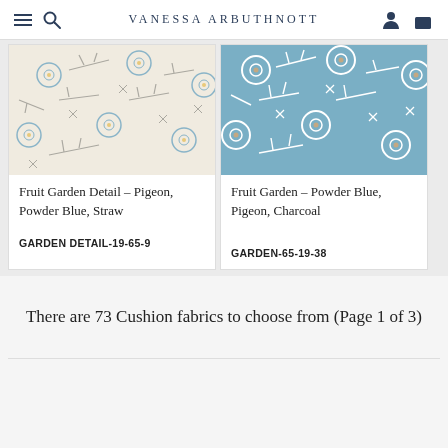Vanessa Arbuthnott
[Figure (photo): Fruit Garden Detail fabric swatch in cream/ivory background with blue flower circles and grey botanical branch/twig pattern]
Fruit Garden Detail – Pigeon, Powder Blue, Straw
GARDEN DETAIL-19-65-9
[Figure (photo): Fruit Garden fabric swatch in powder blue background with white flower circles and white botanical branch/twig pattern]
Fruit Garden – Powder Blue, Pigeon, Charcoal
GARDEN-65-19-38
There are 73 Cushion fabrics to choose from (Page 1 of 3)